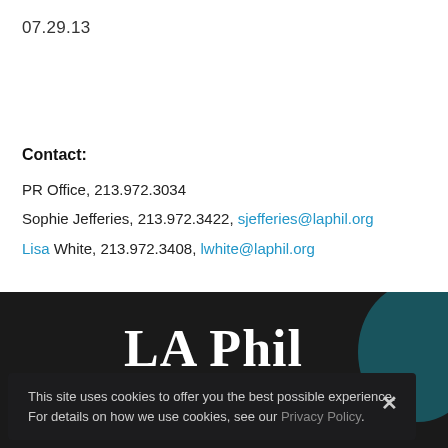07.29.13
Contact:
PR Office, 213.972.3034
Sophie Jefferies, 213.972.3422, sjefferies@laphil.org
Lisa White, 213.972.3408, lwhite@laphil.org
[Figure (logo): LA Phil logo in white text on dark background with teal circle graphic]
This site uses cookies to offer you the best possible experience. For details on how we use cookies, see our Privacy Policy.